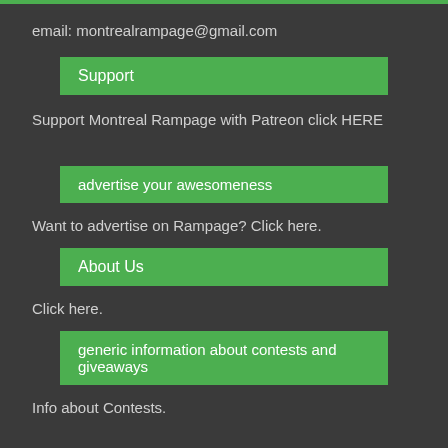email: montrealrampage@gmail.com
Support
Support Montreal Rampage with Patreon click HERE
advertise your awesomeness
Want to advertise on Rampage? Click here.
About Us
Click here.
generic information about contests and giveaways
Info about Contests.